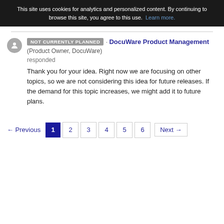This site uses cookies for analytics and personalized content. By continuing to browse this site, you agree to this use. Learn more.
NOT CURRENTLY PLANNED · DocuWare Product Management (Product Owner, DocuWare) responded
Thank you for your idea. Right now we are focusing on other topics, so we are not considering this idea for future releases. If the demand for this topic increases, we might add it to future plans.
← Previous  1  2  3  4  5  6  Next →